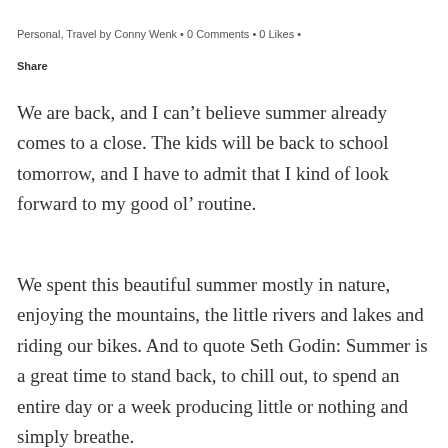Personal, Travel by Conny Wenk • 0 Comments • 0 Likes •
Share
We are back, and I can't believe summer already comes to a close. The kids will be back to school tomorrow, and I have to admit that I kind of look forward to my good ol' routine.
We spent this beautiful summer mostly in nature, enjoying the mountains, the little rivers and lakes and riding our bikes. And to quote Seth Godin: Summer is a great time to stand back, to chill out, to spend an entire day or a week producing little or nothing and simply breathe.